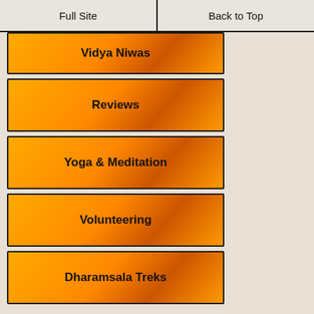Full Site | Back to Top
Vidya Niwas
Reviews
Yoga & Meditation
Volunteering
Dharamsala Treks
' Soft Adventure'
Dalai Lama Tour
Think - Green
Tibetan Buddhism
Dalai Lama Chat
Eating - Out